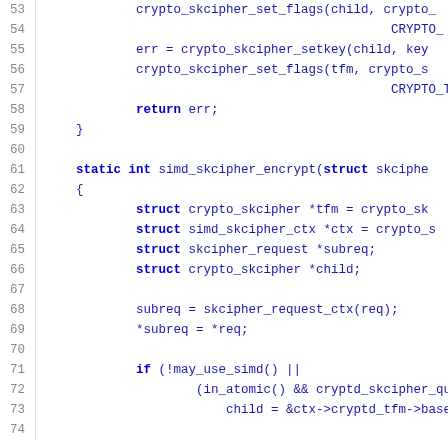[Figure (screenshot): Source code listing showing lines 53-74 of a C file implementing SIMD skcipher encryption functions. Code uses monospace font with line numbers on the left in gray, and code in blue/dark blue.]